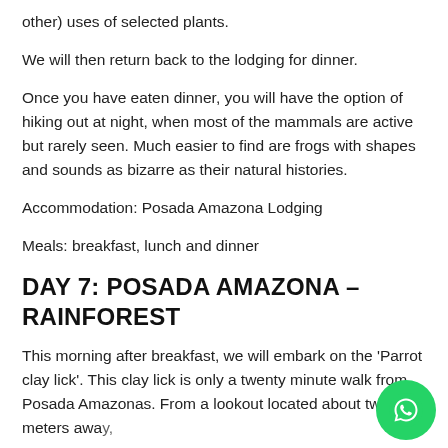other) uses of selected plants.
We will then return back to the lodging for dinner.
Once you have eaten dinner, you will have the option of hiking out at night, when most of the mammals are active but rarely seen. Much easier to find are frogs with shapes and sounds as bizarre as their natural histories.
Accommodation: Posada Amazona Lodging
Meals: breakfast, lunch and dinner
DAY 7: POSADA AMAZONA – RAINFOREST
This morning after breakfast, we will embark on the 'Parrot clay lick'. This clay lick is only a twenty minute walk from Posada Amazonas. From a lookout located about twenty meters away, will...